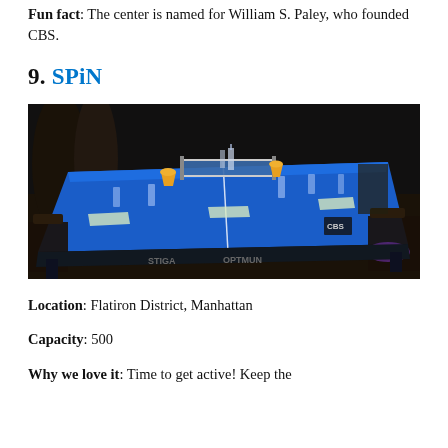Fun fact: The center is named for William S. Paley, who founded CBS.
9. SPiN
[Figure (photo): Interior photo of SPiN venue showing a blue ping pong table set up for dining with glasses, candle lamps, and chairs around it in a dark atmospheric room]
Location: Flatiron District, Manhattan
Capacity: 500
Why we love it: Time to get active! Keep the